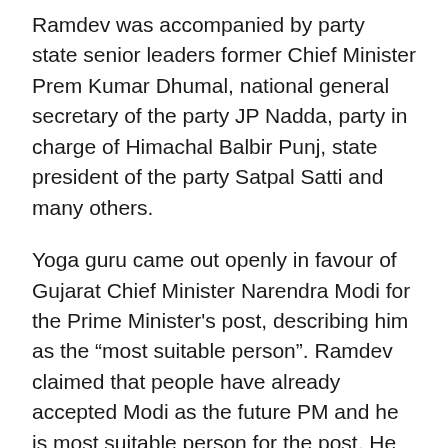Ramdev was accompanied by party state senior leaders former Chief Minister Prem Kumar Dhumal, national general secretary of the party JP Nadda, party in charge of Himachal Balbir Punj, state president of the party Satpal Satti and many others.
Yoga guru came out openly in favour of Gujarat Chief Minister Narendra Modi for the Prime Minister's post, describing him as the “most suitable person”. Ramdev claimed that people have already accepted Modi as the future PM and he is most suitable person for the post. He also lauded the contribution of BJP veteran L K Advani to the party and politics, but he advised him to sense the mood of the nation.